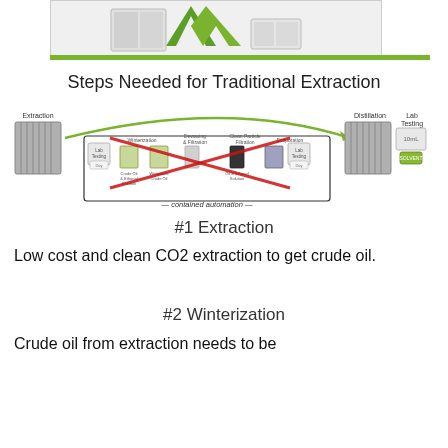[Figure (logo): Logo area with green V-shaped plant/leaf logo on light gray background, with a green horizontal bar beneath]
Steps Needed for Traditional Extraction
[Figure (flowchart): Process flow diagram showing traditional extraction steps: Extraction machine on left, then a box labeled 'contained automation' containing steps with red X marks (Winterization, Dewaxing & Filtration, Clean Particle Filtration, Evaporation) with intermediate products (Crude Oil & Ethanol Solution, Winterized Crude Oil, Oil & Ethanol Solution), then Lab Testing, then Distillation equipment, then Lab Testing with 10mL label]
#1 Extraction
Low cost and clean CO2 extraction to get crude oil.
#2 Winterization
Crude oil from extraction needs to be